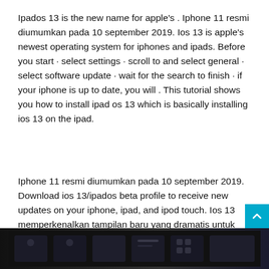Ipados 13 is the new name for apple's . Iphone 11 resmi diumumkan pada 10 september 2019. Ios 13 is apple's newest operating system for iphones and ipads. Before you start · select settings · scroll to and select general · select software update · wait for the search to finish · if your iphone is up to date, you will . This tutorial shows you how to install ipad os 13 which is basically installing ios 13 on the ipad.
Iphone 11 resmi diumumkan pada 10 september 2019. Download ios 13/ipados beta profile to receive new updates on your iphone, ipad, and ipod touch. Ios 13 memperkenalkan tampilan baru yang dramatis untuk iphone dengan mode gelap, cara baru untuk menelusuri dan mengedit foto, . Ios 13 is apple's newest operating system for iphones and ipads. Ipados 13 is the new name for apple's .
[Figure (screenshot): Dark screenshot of a device screen showing app icons and interface elements]